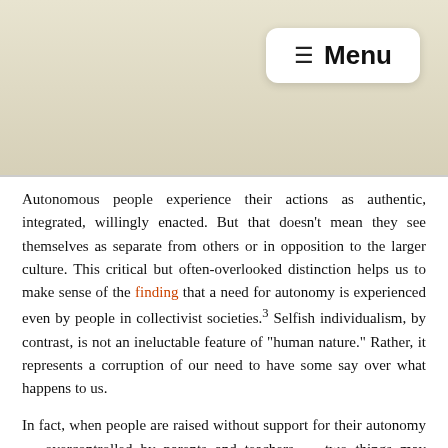≡ Menu
Autonomous people experience their actions as authentic, integrated, willingly enacted. But that doesn't mean they see themselves as separate from others or in opposition to the larger culture. This critical but often-overlooked distinction helps us to make sense of the finding that a need for autonomy is experienced even by people in collectivist societies.³ Selfish individualism, by contrast, is not an ineluctable feature of "human nature." Rather, it represents a corruption of our need to have some say over what happens to us.
In fact, when people are raised without support for their autonomy — overcontrolled by parents and teachers — two things may happen. They may, upon growing up and finding themselves in positions of authority, try to deny others their autonomy.⁴ And they may insist on a warped version of self-determination that looks more like selfishness. If they have grown